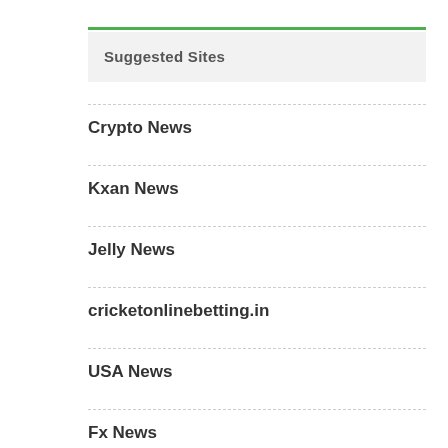Suggested Sites
Crypto News
Kxan News
Jelly News
cricketonlinebetting.in
USA News
Fx News